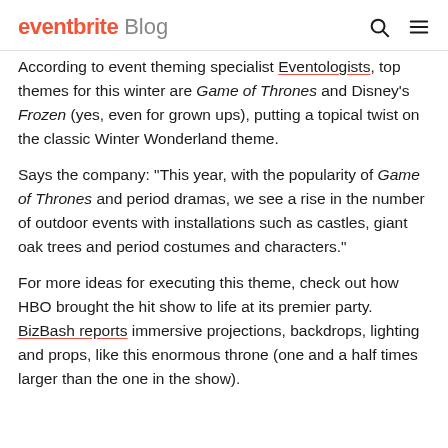eventbrite Blog
According to event theming specialist Eventologists, top themes for this winter are Game of Thrones and Disney's Frozen (yes, even for grown ups), putting a topical twist on the classic Winter Wonderland theme.
Says the company: “This year, with the popularity of Game of Thrones and period dramas, we see a rise in the number of outdoor events with installations such as castles, giant oak trees and period costumes and characters.”
For more ideas for executing this theme, check out how HBO brought the hit show to life at its premier party. BizBash reports immersive projections, backdrops, lighting and props, like this enormous throne (one and a half times larger than the one in the show).